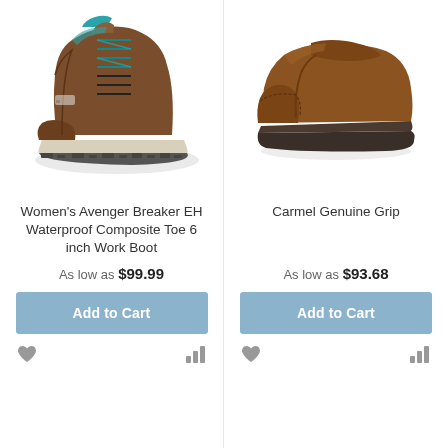[Figure (photo): Brown women's hiking work boot with teal accents and laces, composite toe, on white background]
[Figure (photo): Brown leather slip-on loafer shoe with composite toe, side view, on white background]
Women's Avenger Breaker EH Waterproof Composite Toe 6 inch Work Boot
As low as $99.99
Add to Cart
Carmel Genuine Grip
As low as $93.68
Add to Cart